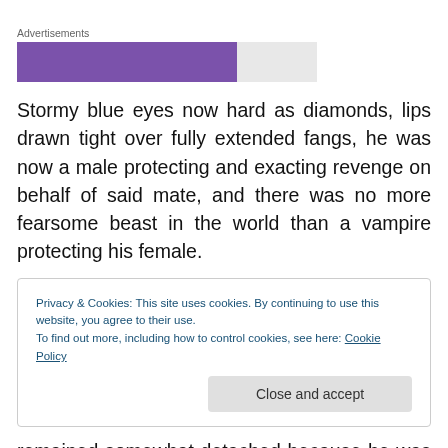[Figure (other): Advertisement placeholder bar: large purple rectangle followed by smaller gray rectangle, labeled 'Advertisements' above]
Stormy blue eyes now hard as diamonds, lips drawn tight over fully extended fangs, he was now a male protecting and exacting revenge on behalf of said mate, and there was no more fearsome beast in the world than a vampire protecting his female.
Privacy & Cookies: This site uses cookies. By continuing to use this website, you agree to their use.
To find out more, including how to control cookies, see here: Cookie Policy
[Close and accept button]
remained somewhat detached because he was entirely on